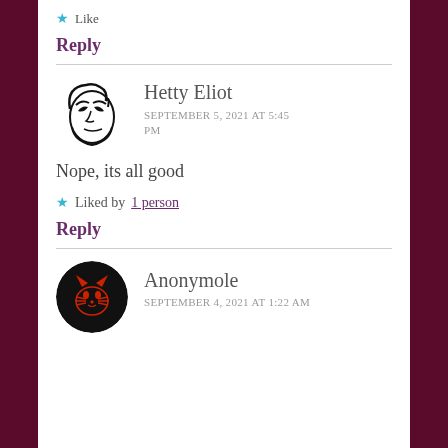★ Like
Reply
[Figure (illustration): Avatar illustration of Hetty Eliot: a stylized black and white line drawing of a face with dramatic eyes and hair]
Hetty Eliot
SEPTEMBER 5, 2021 AT 5:45 PM
Nope, its all good
★ Liked by 1 person
Reply
[Figure (illustration): Avatar of Anonymole: a circular black avatar with a red cat/animal face graphic]
Anonymole
SEPTEMBER 4, 2021 AT 1:22 AM